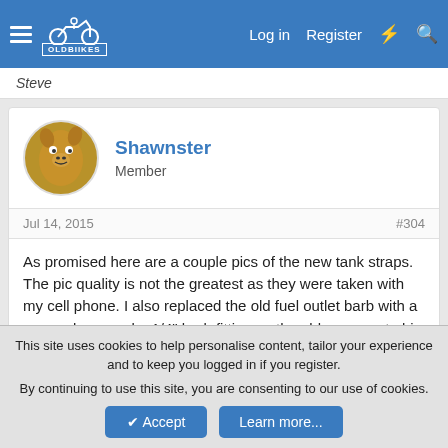OldBikes — Log in | Register
Steve
Shawnster
Member
Jul 14, 2015   #304
As promised here are a couple pics of the new tank straps. The pic quality is not the greatest as they were taken with my cell phone. I also replaced the old fuel outlet barb with a new reducer and a 1/4" barb fitting as the old one was to big and was shaved down. I still have to seal the threads.

Shawn
This site uses cookies to help personalise content, tailor your experience and to keep you logged in if you register.
By continuing to use this site, you are consenting to our use of cookies.